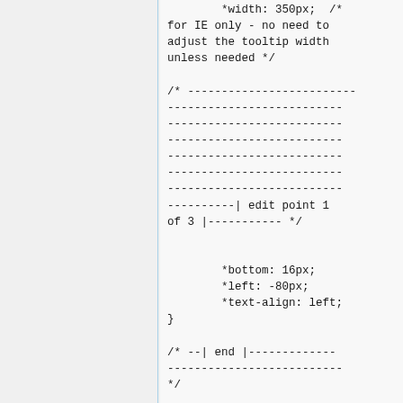*width: 350px;  /* for IE only - no need to adjust the tooltip width unless needed */

/* ------------------------- ------------------------- ------------------------- ------------------------- ------------------------- ------------------------- ------------------------- ----------| edit point 1 of 3 |----------- */


        *bottom: 16px;
        *left: -80px;
        *text-align: left;
}

/* --| end |-------------- ------------------------- */